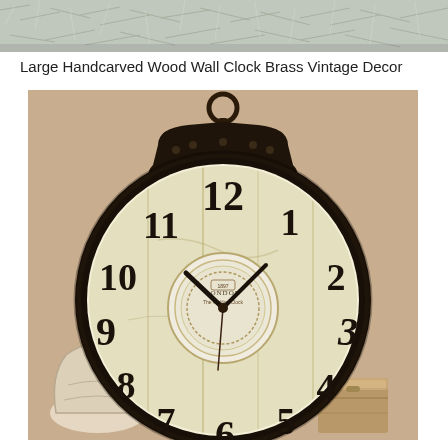[Figure (photo): Top strip showing a fuzzy/fluffy light gray textured surface, appears to be a close-up of a rug or fabric]
Large Handcarved Wood Wall Clock Brass Vintage Decor
[Figure (photo): Large vintage-style round wall clock with dark bronze/black metal frame and hanging loop at top. The clock face has a distressed wood plank background in cream/off-white, with large bold black Arabic numerals 1-12. The center has an ornate circular medallion with 'LONDON' text and decorative script. Clock hands point to approximately 10:10. Below the clock on a beige/tan wall are two decorative items: a white ceramic vase on the left and a small wooden box/chest on the right.]